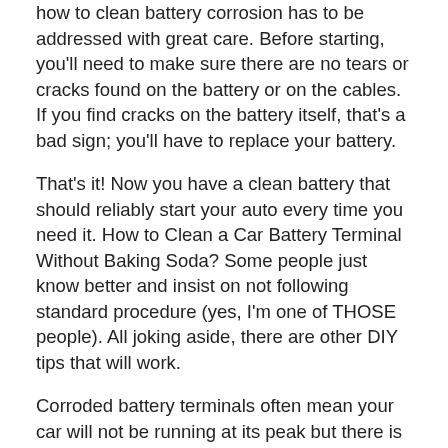how to clean battery corrosion has to be addressed with great care. Before starting, you'll need to make sure there are no tears or cracks found on the battery or on the cables. If you find cracks on the battery itself, that's a bad sign; you'll have to replace your battery.
That's it! Now you have a clean battery that should reliably start your auto every time you need it. How to Clean a Car Battery Terminal Without Baking Soda? Some people just know better and insist on not following standard procedure (yes, I'm one of THOSE people). All joking aside, there are other DIY tips that will work.
Corroded battery terminals often mean your car will not be running at its peak but there is an appropriate way to clean them to ensure it is as safe and environmentally friendly as possible. Mixing water and baking soda is a common home remedy for removing corrosion from battery terminals but considering water and electricity do not mix it